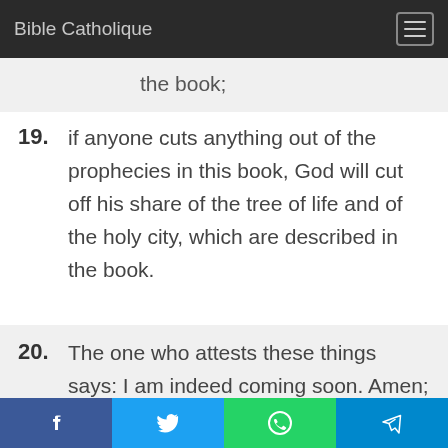Bible Catholique
the book;
19. if anyone cuts anything out of the prophecies in this book, God will cut off his share of the tree of life and of the holy city, which are described in the book.
20. The one who attests these things says: I am indeed coming soon. Amen; come, Lord Jesus.
21. May the grace of the Lord Jesus be with